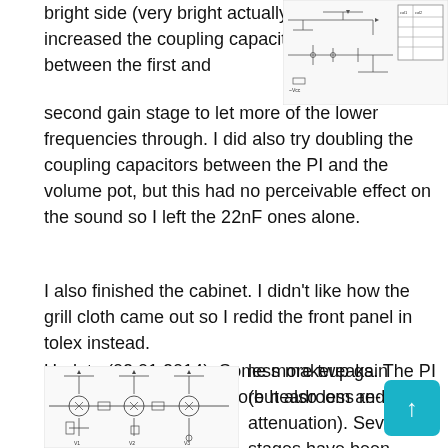bright side (very bright actually) so I increased the coupling capacitor between the first and second gain stage to let more of the lower frequencies through. I did also try doubling the coupling capacitors between the PI and the volume pot, but this had no perceivable effect on the sound so I left the 22nF ones alone.
[Figure (schematic): Partial circuit schematic diagram visible in upper right corner of the page]
I also finished the cabinet. I didn't like how the grill cloth came out so I redid the front panel in tolex instead.
Update (02.01.2014): Some more tweaks. The PI has been rebiased for more headroom and the FX-loop has less makeup gain (but also less re-attenuation). Several stages have been rebiased, and the
[Figure (schematic): Circuit schematic diagram shown in lower left portion of the page]